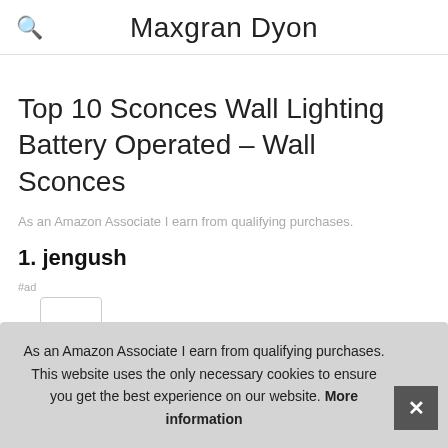Maxgran Dyon
Top 10 Sconces Wall Lighting Battery Operated – Wall Sconces
As an Amazon Associate I earn from qualifying purchases.
1. jengush
As an Amazon Associate I earn from qualifying purchases. This website uses the only necessary cookies to ensure you get the best experience on our website. More information